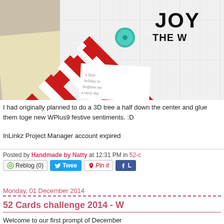[Figure (photo): Close-up photo of holiday cards with red diamond/chevron patterns, a teal brad/button, and text visible including 'JOY' and 'THE W' on white card. Cream/yellow background with grid-lined card visible.]
I had originally planned to do a 3D tree a half down the center and glue them toge new WPlus9 festive sentiments. :D
InLinkz Project Manager account expired
Posted by Handmade by Natty at 12:31 PM in 52-c
Reblog (0)  Tweet  Pin it  Like
Monday, 01 December 2014
52 Cards challenge 2014 - W
Welcome to our first prompt of December